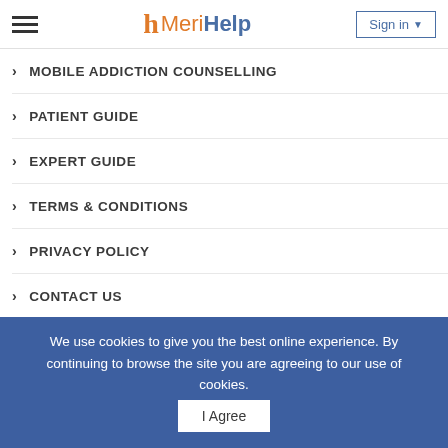Meri Help — Sign in
MOBILE ADDICTION COUNSELLING
PATIENT GUIDE
EXPERT GUIDE
TERMS & CONDITIONS
PRIVACY POLICY
CONTACT US
Follow on us
[Figure (illustration): Social media icons: Twitter, Facebook, Instagram, LinkedIn]
We use cookies to give you the best online experience. By continuing to browse the site you are agreeing to our use of cookies.